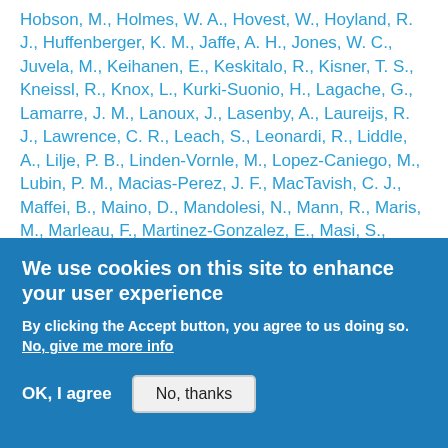Hobson, M., Holmes, W. A., Hovest, W., Hoyland, R. J., Huffenberger, K. M., Jaffe, A. H., Jones, W. C., Juvela, M., Keihanen, E., Keskitalo, R., Kisner, T. S., Kneissl, R., Knox, L., Kurki-Suonio, H., Lagache, G., Lamarre, J. M., Lanoux, J., Lasenby, A., Laureijs, R. J., Lawrence, C. R., Leach, S., Leonardi, R., Liddle, A., Lilje, P. B., Linden-Vornle, M., Lopez-Caniego, M., Lubin, P. M., Macias-Perez, J. F., MacTavish, C. J., Maffei, B., Maino, D., Mandolesi, N., Mann, R., Maris, M., Marleau, F., Martinez-Gonzalez, E., Masi, S., Matarrese, S., Matthai, F., Mazzotta, P., Melchiorri, A., Melin, J. B., Mendes, L., Mennella, A., Mitra, S., Miville-
We use cookies on this site to enhance your user experience
By clicking the Accept button, you agree to us doing so. No, give me more info
OK, I agree   No, thanks